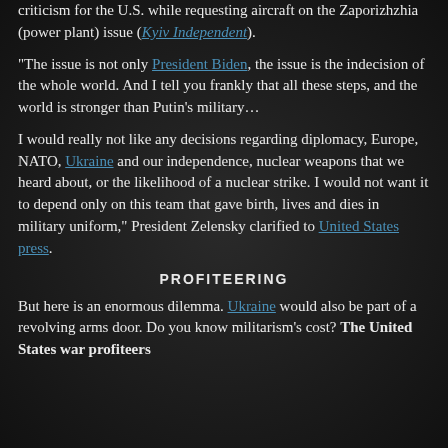criticism for the U.S. while requesting aircraft on the Zaporizhzhia (power plant) issue (Kyiv Independent).
"The issue is not only President Biden, the issue is the indecision of the whole world. And I tell you frankly that all these steps, and the world is stronger than Putin's military…
I would really not like any decisions regarding diplomacy, Europe, NATO, Ukraine and our independence, nuclear weapons that we heard about, or the likelihood of a nuclear strike. I would not want it to depend only on this team that gave birth, lives and dies in military uniform," President Zelensky clarified to United States press.
PROFITEERING
But here is an enormous dilemma. Ukraine would also be part of a revolving arms door. Do you know militarism's cost? The United States war profiteers